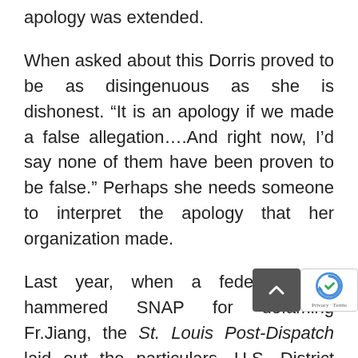apology was extended.
When asked about this Dorris proved to be as disingenuous as she is dishonest. “It is an apology if we made a false allegation….And right now, I’d say none of them have been proven to be false.” Perhaps she needs someone to interpret the apology that her organization made.
Last year, when a federal judge hammered SNAP for defaming Fr.Jiang, the St. Louis Post-Dispatch laid out the particulars. U.S. District Court Judge Carol E. Jackson plainly said that